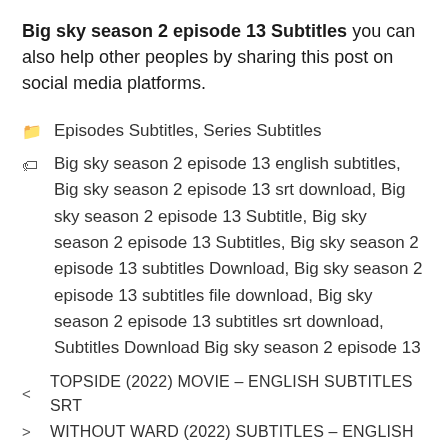Big sky season 2 episode 13 Subtitles you can also help other peoples by sharing this post on social media platforms.
Episodes Subtitles, Series Subtitles
Big sky season 2 episode 13 english subtitles, Big sky season 2 episode 13 srt download, Big sky season 2 episode 13 Subtitle, Big sky season 2 episode 13 Subtitles, Big sky season 2 episode 13 subtitles Download, Big sky season 2 episode 13 subtitles file download, Big sky season 2 episode 13 subtitles srt download, Subtitles Download Big sky season 2 episode 13
< TOPSIDE (2022) MOVIE – ENGLISH SUBTITLES SRT
> WITHOUT WARD (2022) SUBTITLES – ENGLISH